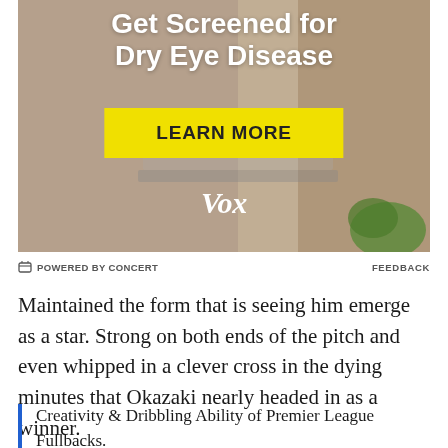[Figure (photo): Advertisement banner for Dry Eye Disease screening featuring a person at a laptop, with a yellow 'LEARN MORE' button and Vox logo. Text reads 'Get Screened for Dry Eye Disease'.]
POWERED BY CONCERT    FEEDBACK
Maintained the form that is seeing him emerge as a star. Strong on both ends of the pitch and even whipped in a clever cross in the dying minutes that Okazaki nearly headed in as a winner.
Creativity & Dribbling Ability of Premier League Fullbacks.